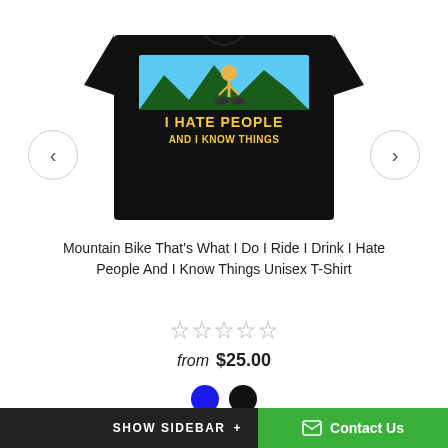[Figure (photo): Black t-shirt with mountain biker graphic and text 'I HATE PEOPLE AND I KNOW THINGS', displayed on an e-commerce product page with left and right navigation arrows]
Mountain Bike That's What I Do I Ride I Drink I Hate People And I Know Things Unisex T-Shirt
from $25.00
SELECT OPTIONS
SHOW SIDEBAR + Contact Us